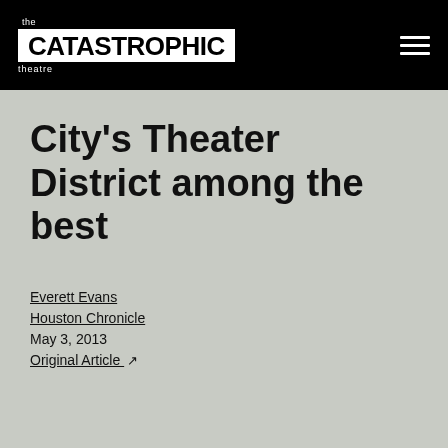the CATASTROPHIC theatre
City's Theater District among the best
Everett Evans
Houston Chronicle
May 3, 2013
Original Article